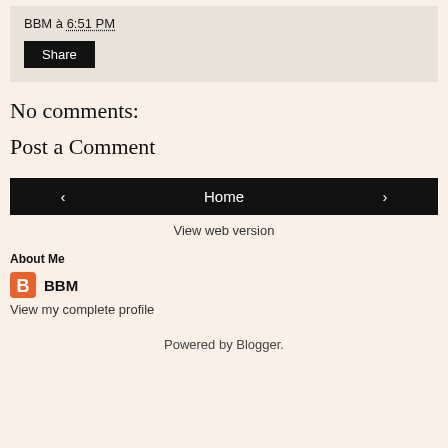BBM à 6:51 PM
Share
No comments:
Post a Comment
‹
Home
›
View web version
About Me
BBM
View my complete profile
Powered by Blogger.